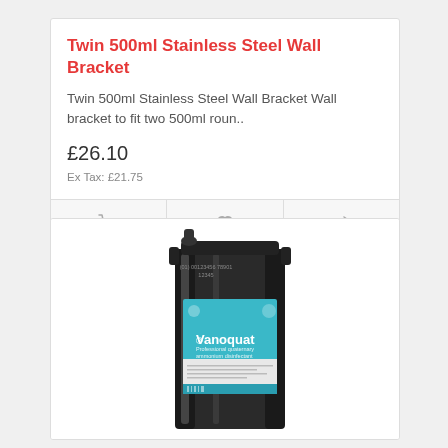Twin 500ml Stainless Steel Wall Bracket
Twin 500ml Stainless Steel Wall Bracket Wall bracket to fit two 500ml roun..
£26.10
Ex Tax: £21.75
[Figure (photo): Large black plastic container/drum with a teal/turquoise label reading 'Vanoquat' professional quaternary ammonium disinfectant, with small print and a teal barcode strip at the bottom.]